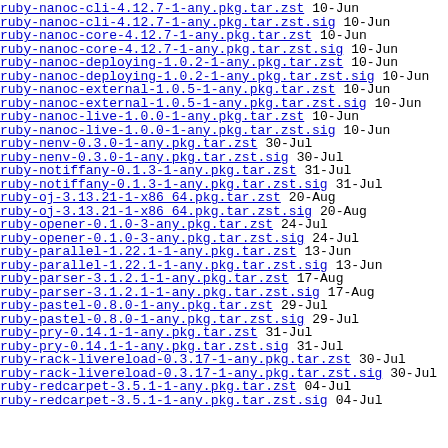ruby-nanoc-cli-4.12.7-1-any.pkg.tar.zst  10-Jun
ruby-nanoc-cli-4.12.7-1-any.pkg.tar.zst.sig  10-Jun
ruby-nanoc-core-4.12.7-1-any.pkg.tar.zst  10-Jun
ruby-nanoc-core-4.12.7-1-any.pkg.tar.zst.sig  10-Jun
ruby-nanoc-deploying-1.0.2-1-any.pkg.tar.zst  10-Jun
ruby-nanoc-deploying-1.0.2-1-any.pkg.tar.zst.sig  10-Jun
ruby-nanoc-external-1.0.5-1-any.pkg.tar.zst  10-Jun
ruby-nanoc-external-1.0.5-1-any.pkg.tar.zst.sig  10-Jun
ruby-nanoc-live-1.0.0-1-any.pkg.tar.zst  10-Jun
ruby-nanoc-live-1.0.0-1-any.pkg.tar.zst.sig  10-Jun
ruby-nenv-0.3.0-1-any.pkg.tar.zst  30-Jul
ruby-nenv-0.3.0-1-any.pkg.tar.zst.sig  30-Jul
ruby-notiffany-0.1.3-1-any.pkg.tar.zst  31-Jul
ruby-notiffany-0.1.3-1-any.pkg.tar.zst.sig  31-Jul
ruby-oj-3.13.21-1-x86_64.pkg.tar.zst  20-Aug
ruby-oj-3.13.21-1-x86_64.pkg.tar.zst.sig  20-Aug
ruby-opener-0.1.0-3-any.pkg.tar.zst  24-Jul
ruby-opener-0.1.0-3-any.pkg.tar.zst.sig  24-Jul
ruby-parallel-1.22.1-1-any.pkg.tar.zst  13-Jun
ruby-parallel-1.22.1-1-any.pkg.tar.zst.sig  13-Jun
ruby-parser-3.1.2.1-1-any.pkg.tar.zst  17-Aug
ruby-parser-3.1.2.1-1-any.pkg.tar.zst.sig  17-Aug
ruby-pastel-0.8.0-1-any.pkg.tar.zst  29-Jul
ruby-pastel-0.8.0-1-any.pkg.tar.zst.sig  29-Jul
ruby-pry-0.14.1-1-any.pkg.tar.zst  31-Jul
ruby-pry-0.14.1-1-any.pkg.tar.zst.sig  31-Jul
ruby-rack-livereload-0.3.17-1-any.pkg.tar.zst  30-Jul
ruby-rack-livereload-0.3.17-1-any.pkg.tar.zst.sig  30-Jul
ruby-redcarpet-3.5.1-1-any.pkg.tar.zst  04-Jul
ruby-redcarpet-3.5.1-1-any.pkg.tar.zst.sig  04-Jul